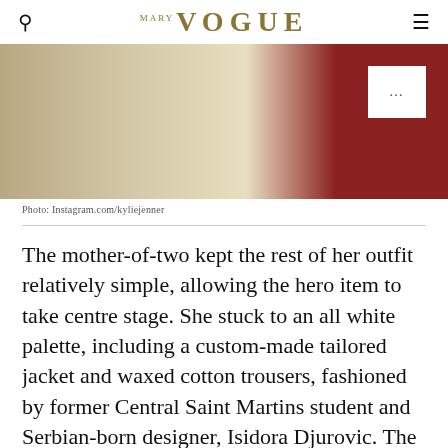VOGUE
[Figure (photo): Partial photo showing white fabric/clothing against a dark red background, partially cropped at top of frame. A white overlay box with three dots (...) appears in the upper right of the image.]
Photo: Instagram.com/kyliejenner
The mother-of-two kept the rest of her outfit relatively simple, allowing the hero item to take centre stage. She stuck to an all white palette, including a custom-made tailored jacket and waxed cotton trousers, fashioned by former Central Saint Martins student and Serbian-born designer, Isidora Djurovic. The beauty mogul chose a pair of head-turning zip-detailed heels by Coperni to finish off